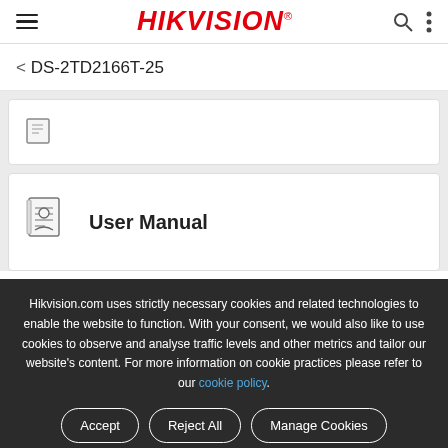HIKVISION® — hamburger menu, search, more icons
< DS-2TD2166T-25
[Figure (screenshot): Partial document card with small icon, cut off at top]
User Manual
Hikvision.com uses strictly necessary cookies and related technologies to enable the website to function. With your consent, we would also like to use cookies to observe and analyse traffic levels and other metrics and tailor our website's content. For more information on cookie practices please refer to our cookie policy.
Accept | Reject All | Manage Cookies